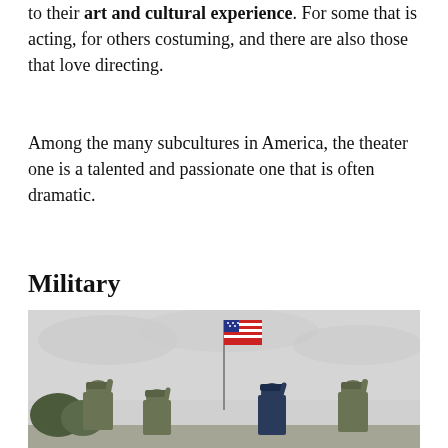to their art and cultural experience. For some that is acting, for others costuming, and there are also those that love directing.
Among the many subcultures in America, the theater one is a talented and passionate one that is often dramatic.
Military
[Figure (photo): Military personnel in camouflage uniforms saluting, seen from behind, with an American flag on a flagpole in the center against a cloudy grey sky. Trees visible on the left.]